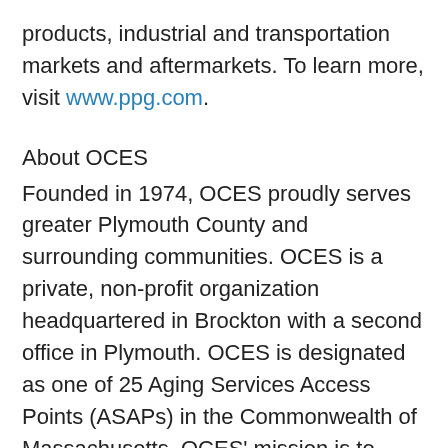products, industrial and transportation markets and aftermarkets. To learn more, visit www.ppg.com.
About OCES
Founded in 1974, OCES proudly serves greater Plymouth County and surrounding communities. OCES is a private, non-profit organization headquartered in Brockton with a second office in Plymouth. OCES is designated as one of 25 Aging Services Access Points (ASAPs) in the Commonwealth of Massachusetts. OCES' mission is to support the independence and dignity of older adults and individuals with disabilities by providing